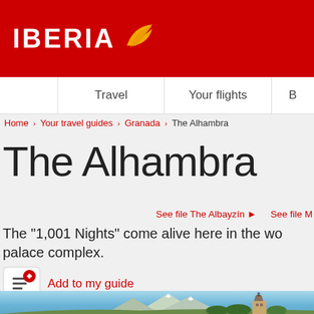[Figure (logo): Iberia airline logo: red background with white IBERIA text and orange/yellow wing icon]
Travel | Your flights | B
Home › Your travel guides › Granada › The Alhambra
The Alhambra
See file The Albayzín ▶   See file M
The "1,001 Nights" come alive here in the wo palace complex.
Add to my guide
[Figure (photo): Landscape photo showing mountains, blue sky, and a church/tower building in Granada, Spain]